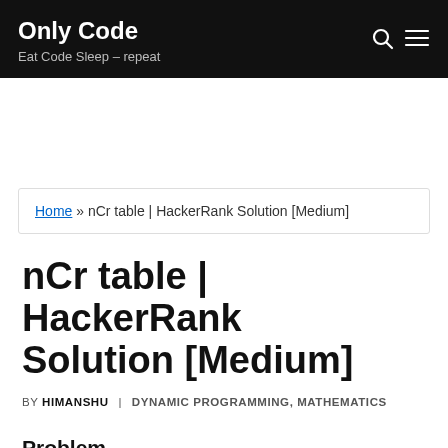Only Code – Eat Code Sleep – repeat
Home » nCr table | HackerRank Solution [Medium]
nCr table | HackerRank Solution [Medium]
BY HIMANSHU | DYNAMIC PROGRAMMING, MATHEMATICS
Problem